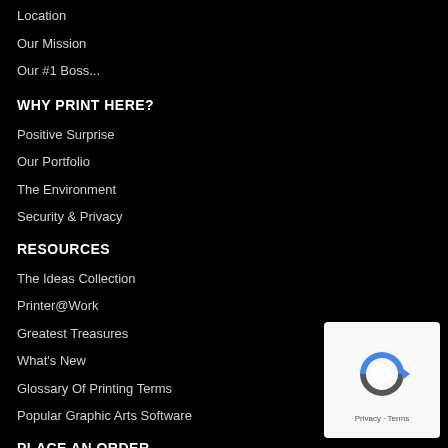Location
Our Mission
Our #1 Boss...
WHY PRINT HERE?
Positive Surprise
Our Portfolio
The Environment
Security & Privacy
RESOURCES
The Ideas Collection
Printer@Work
Greatest Treasures
What's New
Glossary Of Printing Terms
Popular Graphic Arts Software
PLACE AN ORDER
My Account
Get An Estimate
[Figure (logo): reCAPTCHA logo with Privacy and Terms links in a white rounded box]